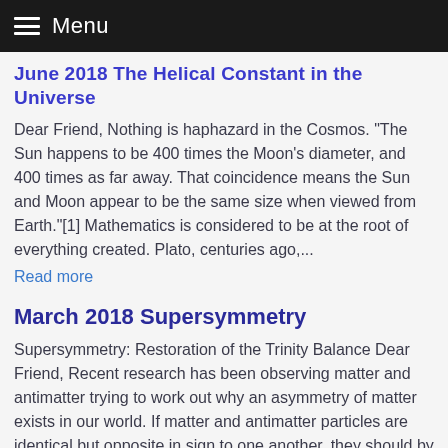Menu
June 2018 The Helical Constant in the Universe
Dear Friend, Nothing is haphazard in the Cosmos.  "The Sun happens to be 400 times the Moon's diameter, and 400 times as far away. That coincidence means the Sun and Moon appear to be the same size when viewed from Earth."[1]  Mathematics is considered to be at the root of everything created.  Plato, centuries ago,...
Read more
March 2018 Supersymmetry
Supersymmetry: Restoration of the Trinity Balance Dear Friend, Recent research has been observing matter and antimatter trying to work out why an asymmetry of matter exists in our world. If matter and antimatter particles are identical but opposite in sign to one another, they should by rights annihilate each other